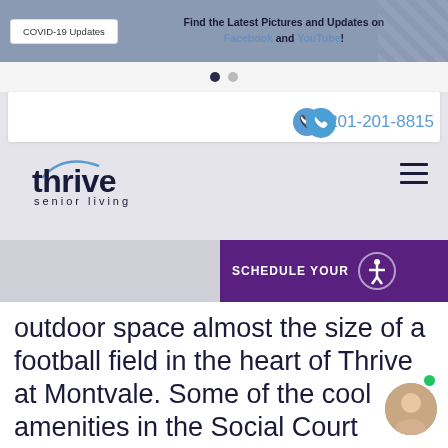COVID-19 Updates | Find the Latest Pictures and Updates on Facebook and YouTube!
201-201-8815
[Figure (logo): Thrive Senior Living logo with arc above letter t]
[Figure (other): Purple SCHEDULE YOUR button with accessibility icon]
outdoor space almost the size of a football field in the heart of Thrive at Montvale. Some of the cool amenities in the Social Court include The Hub, the community greenhouse, Rock N' Roll